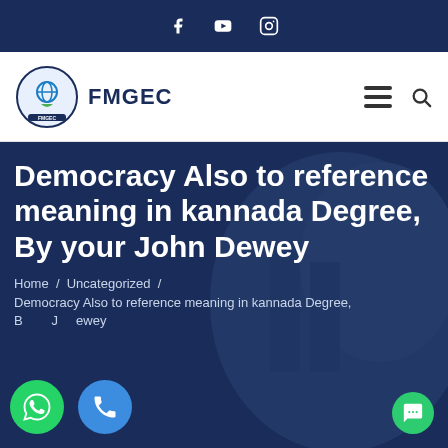Social media icons: Facebook, YouTube, Instagram
[Figure (logo): FMGEC logo with circular emblem and text FMGEC]
Democracy Also to reference meaning in kannada Degree, By your John Dewey
Home / Uncategorized /
Democracy Also to reference meaning in kannada Degree, By your John Dewey